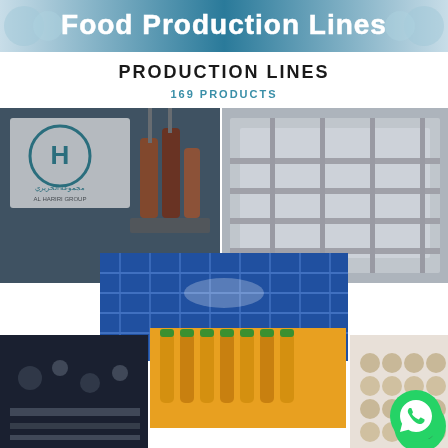[Figure (photo): Banner image showing Food Production Lines text with industrial machinery background in teal/blue tones]
PRODUCTION LINES
169 PRODUCTS
[Figure (photo): Collage of food production line images: Al Hariri Group logo with bottling machinery, stainless steel conveyor equipment, blue crate conveyor lines, orange juice bottles on production line, and food packaging lines]